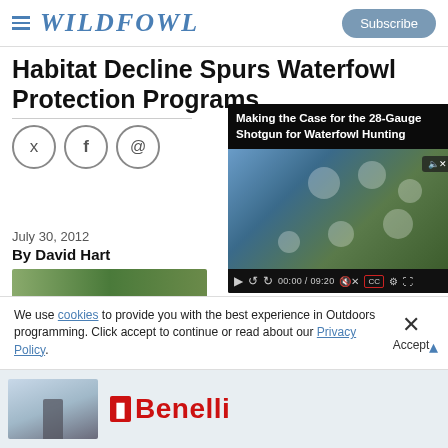WILDFOWL | Subscribe
Habitat Decline Spurs Waterfowl Protection Programs
[Figure (screenshot): Video overlay: Making the Case for the 28-Gauge Shotgun for Waterfowl Hunting, with video player controls showing 00:00 / 09:20]
July 30, 2012
By David Hart
[Figure (photo): Partial article image strip showing outdoor/wetland scene]
We use cookies to provide you with the best experience in Outdoors programming. Click accept to continue or read about our Privacy Policy.
Advertisement
[Figure (photo): Benelli advertisement with hunter/shooter image and Benelli logo in red]